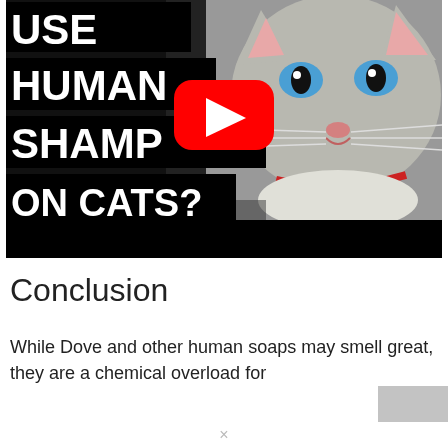[Figure (screenshot): YouTube video thumbnail showing a cat with blue eyes and text overlay reading 'USE HUMAN SHAMPOO ON CATS?' with a YouTube play button in the center]
Conclusion
While Dove and other human soaps may smell great, they are a chemical overload for...